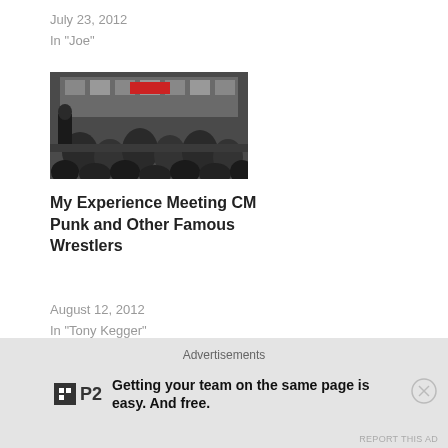July 23, 2012
In "Joe"
[Figure (photo): Crowd at a wrestling event with banner/backdrop in background, people seated and standing in a large venue]
My Experience Meeting CM Punk and Other Famous Wrestlers
August 12, 2012
In "Tony Kegger"
AEW
CHRIS JERICHO
CM PUNK
VINCE MCMAHON
WWE
Advertisements
Getting your team on the same page is easy. And free.